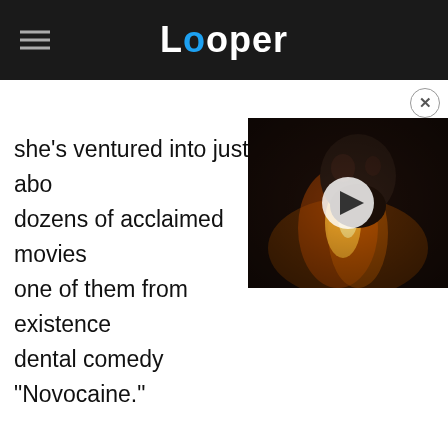Looper
she's ventured into just about dozens of acclaimed movies one of them from existence dental comedy "Novocaine."
[Figure (screenshot): Video thumbnail showing a bald man with a beard in a dark fiery scene, with a play button overlay.]